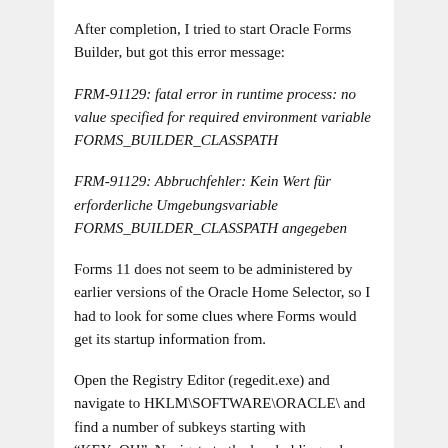After completion, I tried to start Oracle Forms Builder, but got this error message:
FRM-91129: fatal error in runtime process: no value specified for required environment variable FORMS_BUILDER_CLASSPATH
FRM-91129: Abbruchfehler: Kein Wert für erforderliche Umgebungsvariable FORMS_BUILDER_CLASSPATH angegeben
Forms 11 does not seem to be administered by earlier versions of the Oracle Home Selector, so I had to look for some clues where Forms would get its startup information from.
Open the Registry Editor (regedit.exe) and navigate to HKLM\SOFTWARE\ORACLE\ and find a number of subkeys starting with "KEY_OH". Navigate to the key holding values for ORACLE_HOME and ORACLE_HOME_KEY that point to your installation